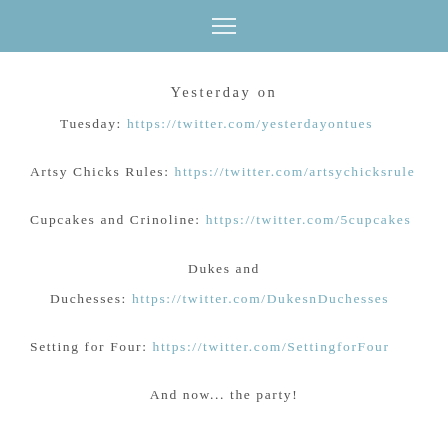≡
Yesterday on
Tuesday: https://twitter.com/yesterdayontues
Artsy Chicks Rules: https://twitter.com/artsychicksrule
Cupcakes and Crinoline: https://twitter.com/5cupcakes
Dukes and Duchesses: https://twitter.com/DukesnDuchesses
Setting for Four: https://twitter.com/SettingforFour
And now... the party!